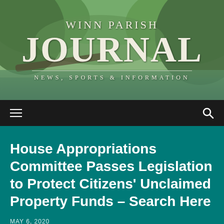[Figure (photo): Winn Parish Journal newspaper header with forest/bayou landscape background showing trees, water reflection, and lush greenery]
WINN PARISH JOURNAL — NEWS, SPORTS & INFORMATION
Navigation bar with hamburger menu and search icon
House Appropriations Committee Passes Legislation to Protect Citizens' Unclaimed Property Funds – Search Here
MAY 6, 2020